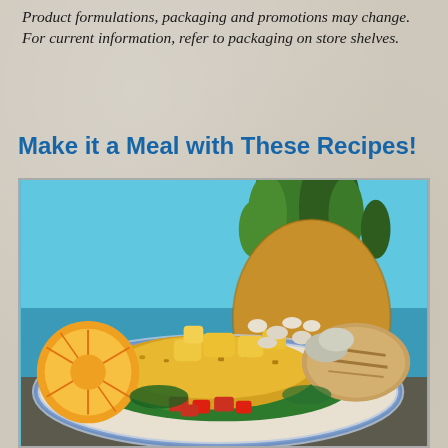Product formulations, packaging and promotions may change. For current information, refer to packaging on store shelves.
Make it a Meal with These Recipes!
[Figure (photo): A colorful dish featuring curried rice with pineapple chunks, white beans, leafy greens, tomatoes, and a grilled chicken breast, plated on a decorative blue and white plate with an orange slice and a whole pineapple in the background against a pool-blue background.]